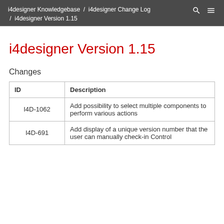i4designer Knowledgebase / i4designer Change Log / i4designer Version 1.15
i4designer Version 1.15
Changes
| ID | Description |
| --- | --- |
| I4D-1062 | Add possibility to select multiple components to perform various actions |
| I4D-691 | Add display of a unique version number that the user can manually check-in Control |